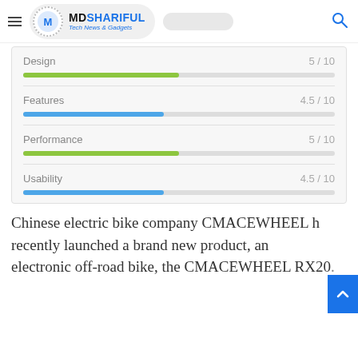MDSHARIFUL Tech News & Gadgets
[Figure (bar-chart): Ratings]
Chinese electric bike company CMACEWHEEL has recently launched a brand new product, an electronic off-road bike, the CMACEWHEEL RX20...